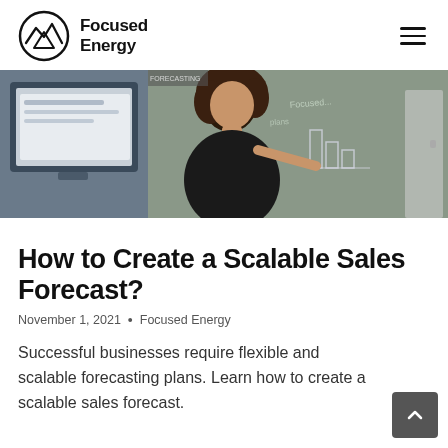Focused Energy
[Figure (photo): A woman with curly hair writing on a chalkboard showing a bar chart, with a computer monitor on the left side]
How to Create a Scalable Sales Forecast?
November 1, 2021  •  Focused Energy
Successful businesses require flexible and scalable forecasting plans. Learn how to create a scalable sales forecast.